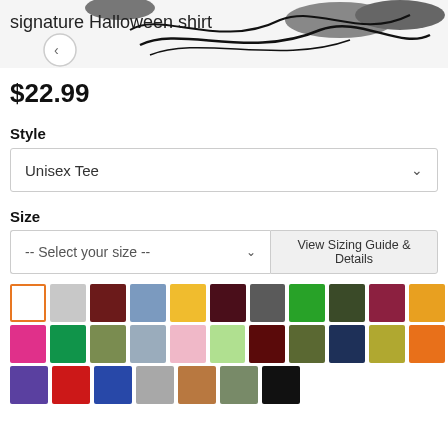[Figure (photo): Product image showing signature Halloween shirt with handwritten signature overlay and navigation arrows]
signature Halloween shirt
$22.99
Style
Unisex Tee
Size
-- Select your size --
View Sizing Guide & Details
[Figure (infographic): Color swatch grid showing available shirt colors: white (selected), light gray, dark red/maroon, steel blue, yellow, dark maroon, dark gray, green, dark olive, dark pink/mauve, gold/amber, hot pink, emerald green, olive green, light blue-gray, light pink, light green, dark red, olive/khaki, navy blue, dark yellow/olive, orange, purple, red, blue, gray, tan/brown, sage green, black]